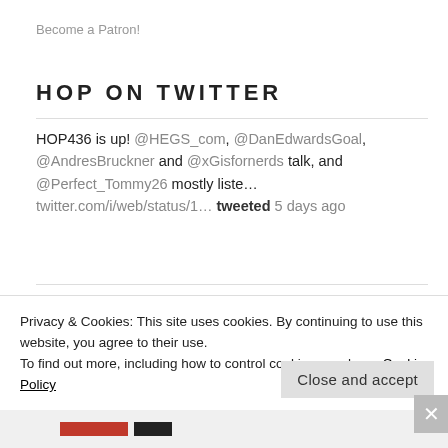Become a Patron!
HOP ON TWITTER
HOP436 is up! @HEGS_com, @DanEdwardsGoal, @AndresBruckner and @xGisfornerds talk, and @Perfect_Tommy26 mostly liste... twitter.com/i/web/status/1... tweeted 5 days ago
RT @ModernLepra: @HandOfPod @HEGS_com @DanEdwardsGoal @xGisfornerds @AndresBruckner @Perfect_Tommy26 Did Tommy bring the cheap fernet or Br... tweeted 5 days ago
Privacy & Cookies: This site uses cookies. By continuing to use this website, you agree to their use.
To find out more, including how to control cookies, see here: Cookie Policy
Close and accept